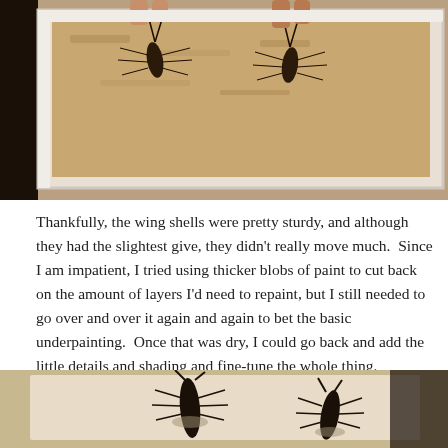[Figure (photo): Close-up photo of insect wing shells or beetle specimens mounted in a white display box on a cork background, viewed from above.]
Thankfully, the wing shells were pretty sturdy, and although they had the slightest give, they didn't really move much.  Since I am impatient, I tried using thicker blobs of paint to cut back on the amount of layers I'd need to repaint, but I still needed to go over and over it again and again to bet the basic underpainting.  Once that was dry, I could go back and add the little details and shading and fine-tune the whole thing.
[Figure (photo): Photo showing painted insect or beetle specimens on a canvas or board, with black silhouette shapes visible against a light background.]